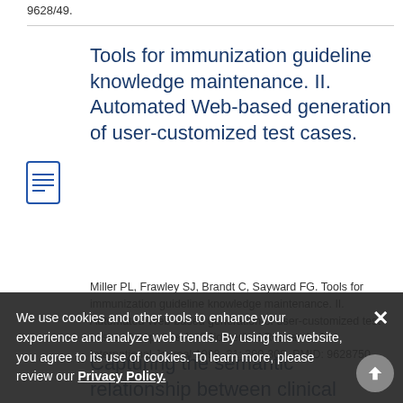9628/49.
Tools for immunization guideline knowledge maintenance. II. Automated Web-based generation of user-customized test cases.
Miller PL, Frawley SJ, Brandt C, Sayward FG. Tools for immunization guideline knowledge maintenance. II. Automated Web-based generation of user-customized test cases. Computers And Biomedical Research, An International Journal 1998. 31: 300-308. PMID: 9628750.
Capturing the semantic relationship between clinical